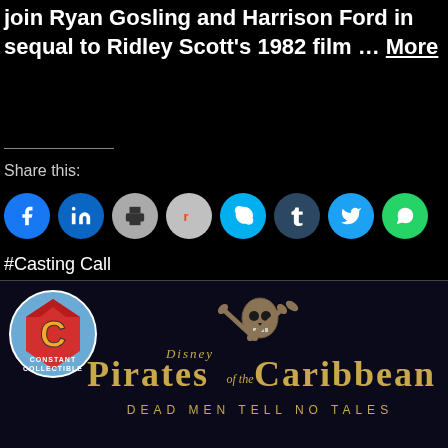join Ryan Gosling and Harrison Ford in sequal to Ridley Scott's 1982 film … More
Share this:
[Figure (infographic): Row of social media share buttons: Facebook, LinkedIn, Print, Reddit, Skype, Tumblr, Twitter, WhatsApp]
#Casting Call
[Figure (logo): Constant Collectible logo - circular badge with Superman-style shield and letter C]
[Figure (illustration): Pirates of the Caribbean Dead Men Tell No Tales logo with Disney branding and skull-and-crossbones graphic]